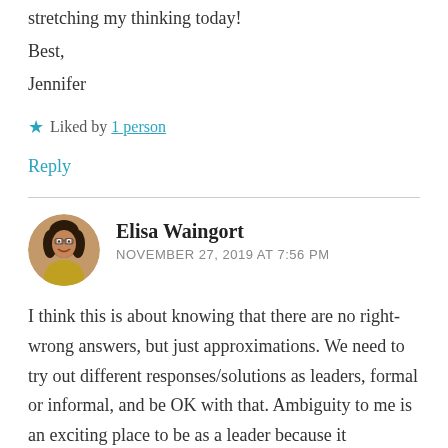stretching my thinking today!
Best,
Jennifer
★ Liked by 1 person
Reply
Elisa Waingort
NOVEMBER 27, 2019 AT 7:56 PM
[Figure (photo): Circular avatar photo of Elisa Waingort]
I think this is about knowing that there are no right-wrong answers, but just approximations. We need to try out different responses/solutions as leaders, formal or informal, and be OK with that. Ambiguity to me is an exciting place to be as a leader because it